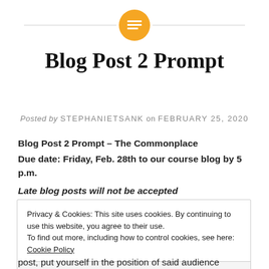[Figure (other): Decorative header with horizontal line and orange/gold circle icon containing a text/lines symbol in the center]
Blog Post 2 Prompt
Posted by STEPHANIETSANK on FEBRUARY 25, 2020
Blog Post 2 Prompt – The Commonplace
Due date: Friday, Feb. 28th to our course blog by 5 p.m.
Late blog posts will not be accepted
Privacy & Cookies: This site uses cookies. By continuing to use this website, you agree to their use.
To find out more, including how to control cookies, see here: Cookie Policy
Close and accept
post, put yourself in the position of said audience